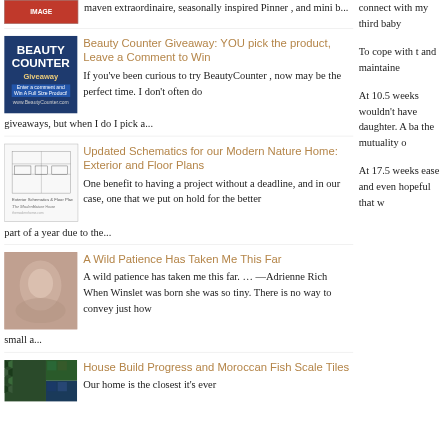maven extraordinaire, seasonally inspired Pinner , and mini b...
[Figure (photo): Thumbnail image at top left, partially visible, appears to be a graphic/banner]
[Figure (photo): BeautyCounter Giveaway thumbnail - blue promotional image with text]
Beauty Counter Giveaway: YOU pick the product, Leave a Comment to Win
If you've been curious to try BeautyCounter , now may be the perfect time. I don't often do giveaways, but when I do I pick a...
[Figure (schematic): Updated Schematics thumbnail - architectural floor plan sketch]
Updated Schematics for our Modern Nature Home: Exterior and Floor Plans
One benefit to having a project without a deadline, and in our case, one that we put on hold for the better part of a year due to the...
[Figure (photo): A Wild Patience Has Taken Me This Far - photo of tiny newborn baby]
A Wild Patience Has Taken Me This Far
A wild patience has taken me this far. … —Adrienne Rich When Winslet was born she was so tiny. There is no way to convey just how small a...
[Figure (photo): House Build Progress - Moroccan fish scale tiles thumbnail]
House Build Progress and Moroccan Fish Scale Tiles
Our home is the closest it's ever
connect with my third baby
To cope with t and maintaine
At 10.5 weeks wouldn't have daughter. A ba the mutuality o
At 17.5 weeks ease and even hopeful that w